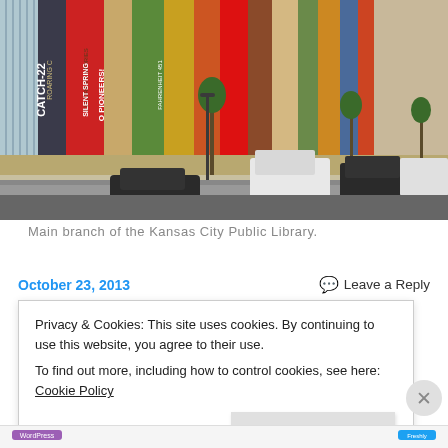[Figure (photo): Exterior of the Main branch of the Kansas City Public Library, showing giant book spines as the facade of the building, with trees and parked vehicles on the street.]
Main branch of the Kansas City Public Library.
October 23, 2013
Leave a Reply
Privacy & Cookies: This site uses cookies. By continuing to use this website, you agree to their use.
To find out more, including how to control cookies, see here: Cookie Policy
Close and accept